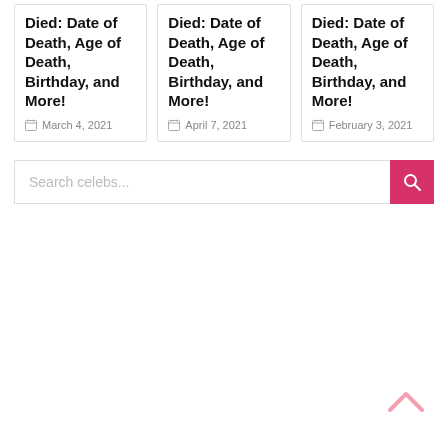Died: Date of Death, Age of Death, Birthday, and More!
March 4, 2021
Died: Date of Death, Age of Death, Birthday, and More!
April 7, 2021
Died: Date of Death, Age of Death, Birthday, and More!
February 3, 2021
Search celebs...